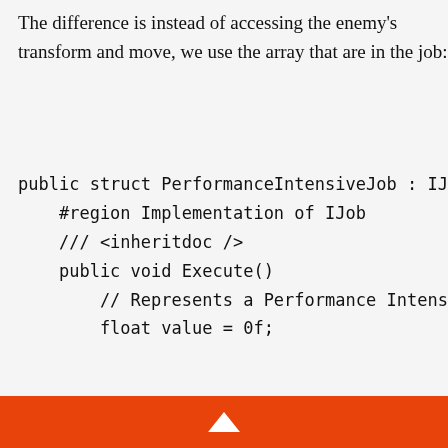The difference is instead of accessing the enemy's transform and move, we use the array that are in the job:
[Figure (screenshot): Code snippet showing a C# public struct PerformanceIntensiveJob implementing IJob interface, with #region Implementation of IJob, /// <inheritdoc /> comment, public void Execute() method, // Represents a Performance Intensive comment, and float value = 0f; declaration]